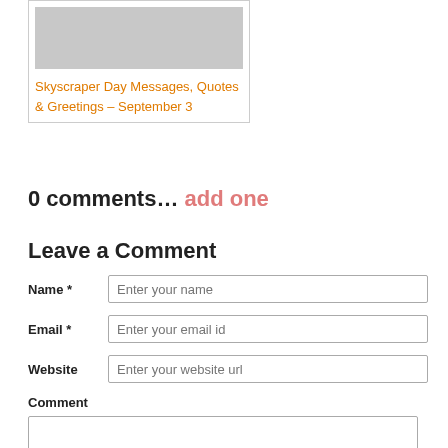[Figure (other): Gray placeholder image inside a bordered card box]
Skyscraper Day Messages, Quotes & Greetings – September 3
0 comments… add one
Leave a Comment
Name * Enter your name
Email * Enter your email id
Website Enter your website url
Comment